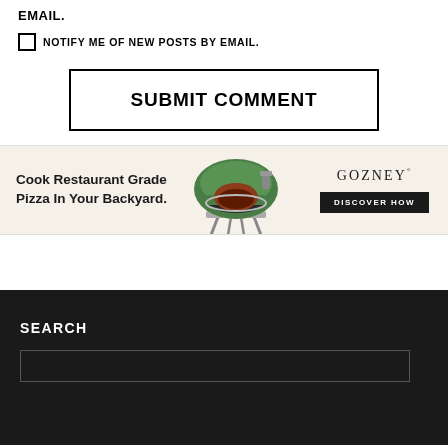EMAIL.
NOTIFY ME OF NEW POSTS BY EMAIL.
SUBMIT COMMENT
[Figure (illustration): Advertisement banner for Gozney pizza oven. Shows text 'Cook Restaurant Grade Pizza In Your Backyard.' with an image of a green Gozney pizza oven and 'GOZNEY° DISCOVER HOW' button on the right.]
SEARCH